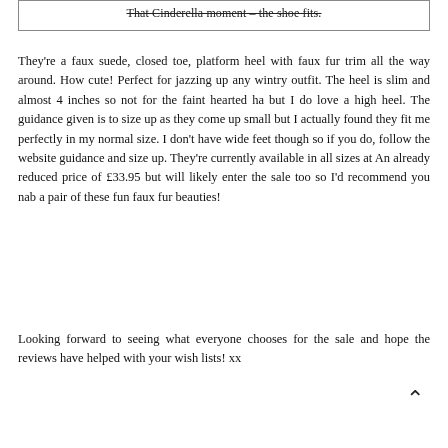That Cinderella moment – the shoe fits.
They're a faux suede, closed toe, platform heel with faux fur trim all the way around. How cute! Perfect for jazzing up any wintry outfit. The heel is slim and almost 4 inches so not for the faint hearted ha but I do love a high heel. The guidance given is to size up as they come up small but I actually found they fit me perfectly in my normal size. I don't have wide feet though so if you do, follow the website guidance and size up. They're currently available in all sizes at An already reduced price of £33.95 but will likely enter the sale too so I'd recommend you nab a pair of these fun faux fur beauties!
Looking forward to seeing what everyone chooses for the sale and hope the reviews have helped with your wish lists! xx